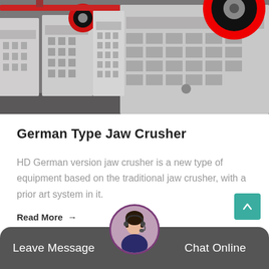[Figure (photo): Row of large white industrial jaw crusher machines in a factory, with red and black flywheels visible on the right side. Machines have ribbed structural frames.]
German Type Jaw Crusher
HD German version jaw crusher is a new type of equipment based on the traditional jaw crusher, with a prior art system in it.
Read More →
Leave Message   Chat Online